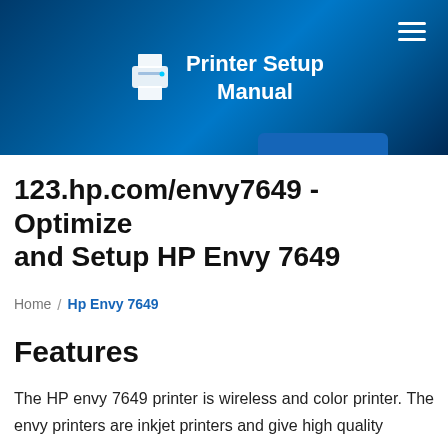[Figure (logo): Printer Setup Manual website header with printer icon logo and hamburger menu on blue gradient background]
123.hp.com/envy7649 - Optimize and Setup HP Envy 7649
Home / Hp Envy 7649
Features
The HP envy 7649 printer is wireless and color printer. The envy printers are inkjet printers and give high quality